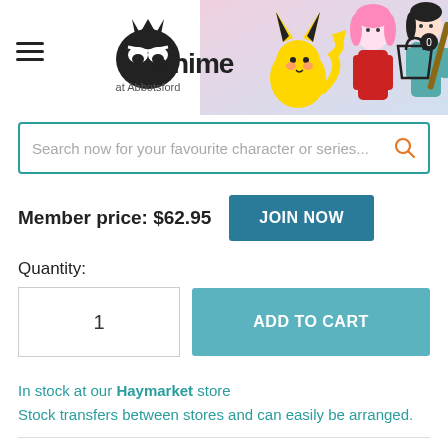[Figure (screenshot): Anime at Abbotsford store header with logo, anime figures (Pikachu, pink-haired character, dark-haired character), hamburger menu icon, and shopping cart icon with 0 badge]
Search now for your favourite character or series...
Member price: $62.95
JOIN NOW
Quantity:
1
ADD TO CART
In stock at our Haymarket store
Stock transfers between stores and can easily be arranged.
Calculate Shipping